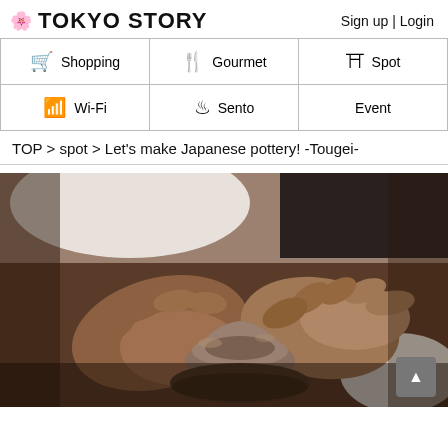TOKYO STORY
Sign up | Login
Shopping | Gourmet | Spot | Wi-Fi | Sento | Event
TOP > spot > Let’s make Japanese pottery! -Tougei-
[Figure (photo): Close-up photo of two pairs of hands shaping clay on a pottery wheel, fingers covered in clay, forming a small bowl-like vessel.]